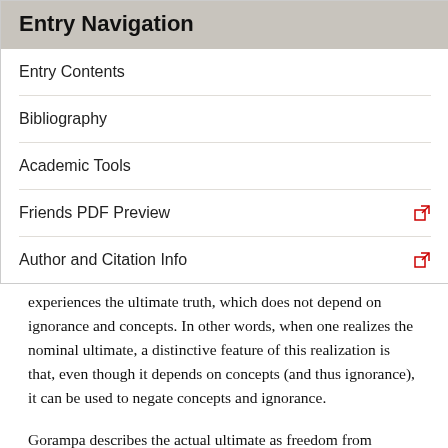Entry Navigation
Entry Contents
Bibliography
Academic Tools
Friends PDF Preview
Author and Citation Info
experiences the ultimate truth, which does not depend on ignorance and concepts. In other words, when one realizes the nominal ultimate, a distinctive feature of this realization is that, even though it depends on concepts (and thus ignorance), it can be used to negate concepts and ignorance.
Gorampa describes the actual ultimate as freedom from conceptual constructs (spros pa dang bral ba). It should be noted that this is not, however, the same as simply not thinking. (Gorampa defends himself against accusations equating his method to mere non-thinking in his lta ba'i